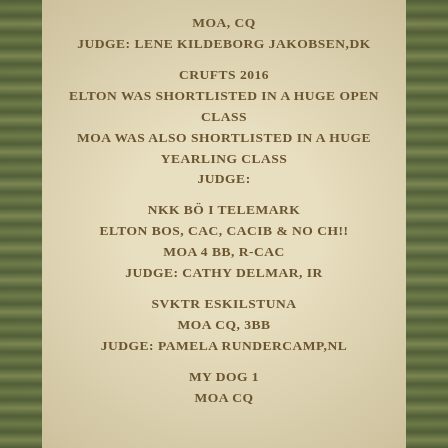MOA, CQ
JUDGE: LENE KILDEBORG JAKOBSEN,DK
CRUFTS 2016
ELTON WAS SHORTLISTED IN A HUGE OPEN CLASS
MOA WAS ALSO SHORTLISTED IN A HUGE
YEARLING CLASS
JUDGE:
NKK BÖ I TELEMARK
ELTON BOS, CAC, CACIB & NO CH!!
MOA 4 BB, R-CAC
JUDGE: CATHY DELMAR, IR
SVKTR ESKILSTUNA
MOA CQ, 3BB
JUDGE: PAMELA RUNDERCAMP,NL
MY DOG 1
MOA CQ